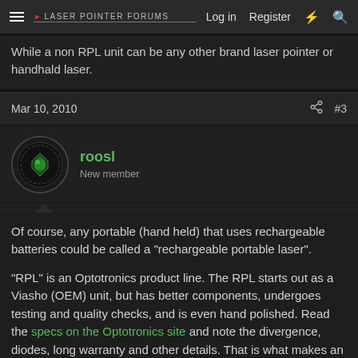Laser Pointer Forums — Log in | Register
While a non RPL unit can be any other brand laser pointer or handhald laser.
Mar 10, 2010  #3
roosl
New member
Of course, any portable (hand held) that uses rechargeable batteries could be called a "rechargeable portable laser".
"RPL" is an Optotronics product line. The RPL starts out as a Viasho (OEM) unit, but has better components, undergoes testing and quality checks, and is even hand polished. Read the specs on the Optotronics site and note the divergence, diodes, long warranty and other details. That is what makes an RPL.